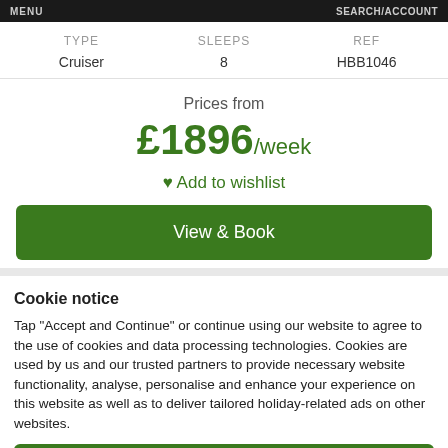MENU   SEARCH/ACCOUNT
| TYPE | SLEEPS | REF |
| --- | --- | --- |
| Cruiser | 8 | HBB1046 |
Prices from
£1896/week
Add to wishlist
View & Book
Cookie notice
Tap "Accept and Continue" or continue using our website to agree to the use of cookies and data processing technologies. Cookies are used by us and our trusted partners to provide necessary website functionality, analyse, personalise and enhance your experience on this website as well as to deliver tailored holiday-related ads on other websites.
Accept and Continue